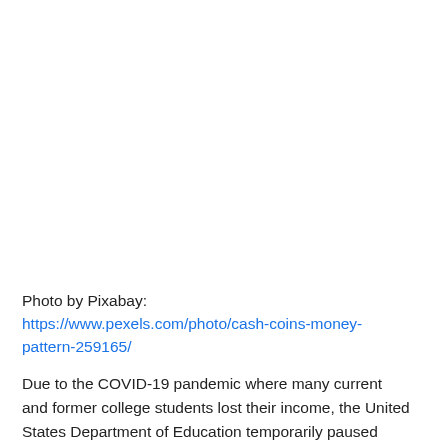Photo by Pixabay: https://www.pexels.com/photo/cash-coins-money-pattern-259165/
Due to the COVID-19 pandemic where many current and former college students lost their income, the United States Department of Education temporarily paused repayments on student loans, collections, and interest. On April 6, 2022, the decision was made to pause repayments once again in an effort to help those who are still struggling financially from